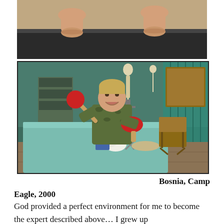[Figure (photo): Partial photo at top of page showing bare feet/ankles, cropped at top edge, appears to be a medical treadmill or examination setting]
[Figure (photo): Photo of a smiling soldier in camouflage uniform sitting behind a treatment table in a medical clinic, holding a large reflex hammer and a ping pong paddle. Skeleton models, shelves, a folding chair, and teal curtains are visible in the background. The setting is Bosnia, Camp Eagle, 2000.]
Bosnia, Camp Eagle, 2000
God provided a perfect environment for me to become the expert described above… I grew up